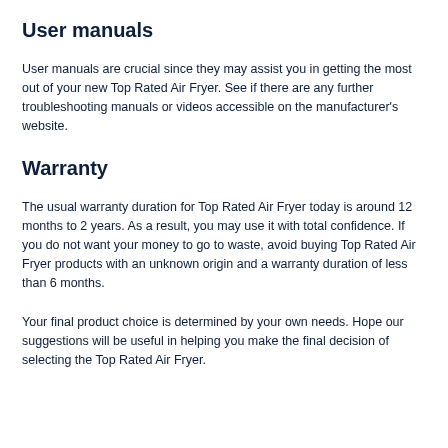User manuals
User manuals are crucial since they may assist you in getting the most out of your new Top Rated Air Fryer. See if there are any further troubleshooting manuals or videos accessible on the manufacturer's website.
Warranty
The usual warranty duration for Top Rated Air Fryer today is around 12 months to 2 years. As a result, you may use it with total confidence. If you do not want your money to go to waste, avoid buying Top Rated Air Fryer products with an unknown origin and a warranty duration of less than 6 months.
Your final product choice is determined by your own needs. Hope our suggestions will be useful in helping you make the final decision of selecting the Top Rated Air Fryer.